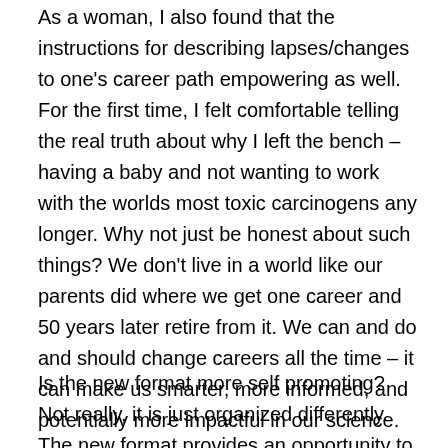As a woman, I also found that the instructions for describing lapses/changes to one's career path empowering as well. For the first time, I felt comfortable telling the real truth about why I left the bench – having a baby and not wanting to work with the worlds most toxic carcinogens any longer. Why not just be honest about such things? We don't live in a world like our parents did where we get one career and 50 years later retire from it. We can and do and should change careers all the time – it can make us smarter, more informed, and potentially more impactful in our science.
Is the new format more self promoting? Not really, it is just organized differently. The new format provides an opportunity to classify and